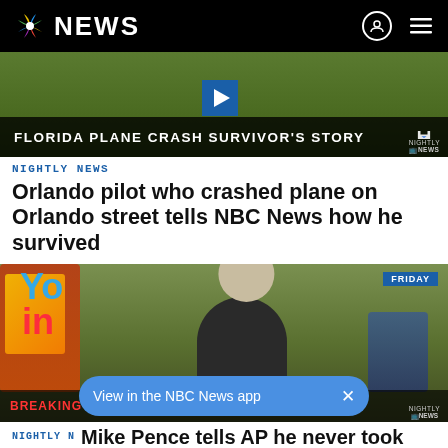NBC NEWS
[Figure (screenshot): Video thumbnail showing Florida Plane Crash Survivor's Story with NBC Nightly News label and play button]
NIGHTLY NEWS
Orlando pilot who crashed plane on Orlando street tells NBC News how he survived
[Figure (screenshot): Video thumbnail of man being interviewed at a fair/carnival setting, with FRIDAY badge and BREAKING NEWS bar at bottom]
View in the NBC News app
NIGHTLY N...
Mike Pence tells AP he never took classified